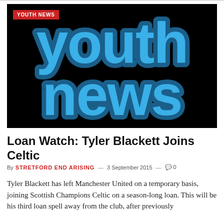[Figure (illustration): Youth News banner image with large blue bubble-style text reading 'youth news' on a black background, with a red 'YOUTH NEWS' badge in the top left corner]
Loan Watch: Tyler Blackett Joins Celtic
By STRETFORD END ARISING — 3 September 2015 — 0
Tyler Blackett has left Manchester United on a temporary basis, joining Scottish Champions Celtic on a season-long loan. This will be his third loan spell away from the club, after previously